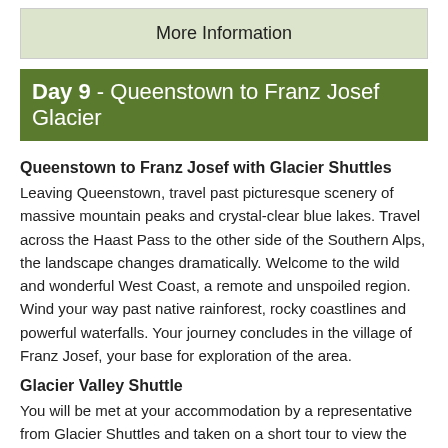More Information
Day 9 - Queenstown to Franz Josef Glacier
Queenstown to Franz Josef with Glacier Shuttles
Leaving Queenstown, travel past picturesque scenery of massive mountain peaks and crystal-clear blue lakes. Travel across the Haast Pass to the other side of the Southern Alps, the landscape changes dramatically. Welcome to the wild and wonderful West Coast, a remote and unspoiled region. Wind your way past native rainforest, rocky coastlines and powerful waterfalls. Your journey concludes in the village of Franz Josef, your base for exploration of the area.
Glacier Valley Shuttle
You will be met at your accommodation by a representative from Glacier Shuttles and taken on a short tour to view the glacier. Your